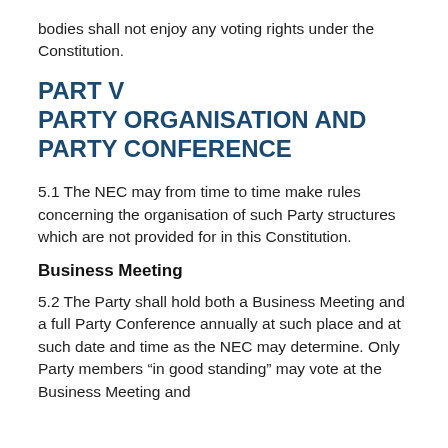bodies shall not enjoy any voting rights under the Constitution.
PART V
PARTY ORGANISATION AND PARTY CONFERENCE
5.1 The NEC may from time to time make rules concerning the organisation of such Party structures which are not provided for in this Constitution.
Business Meeting
5.2 The Party shall hold both a Business Meeting and a full Party Conference annually at such place and at such date and time as the NEC may determine. Only Party members “in good standing” may vote at the Business Meeting and